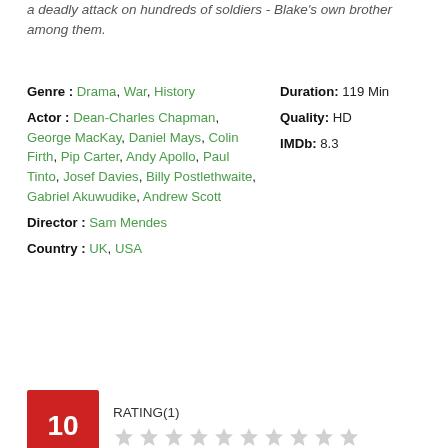a deadly attack on hundreds of soldiers - Blake's own brother among them.
Genre : Drama, War, History
Actor : Dean-Charles Chapman, George MacKay, Daniel Mays, Colin Firth, Pip Carter, Andy Apollo, Paul Tinto, Josef Davies, Billy Postlethwaite, Gabriel Akuwudike, Andrew Scott
Director : Sam Mendes
Country : UK, USA
Duration: 119 Min
Quality: HD
IMDb: 8.3
RATING(1) 10 (10 empty stars)